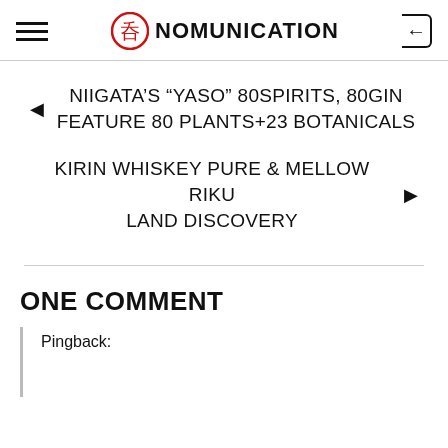NOMUNICATION
NIIGATA'S “YASO” 80SPIRITS, 80GIN FEATURE 80 PLANTS+23 BOTANICALS
KIRIN WHISKEY PURE & MELLOW RIKU LAND DISCOVERY
ONE COMMENT
Pingback: